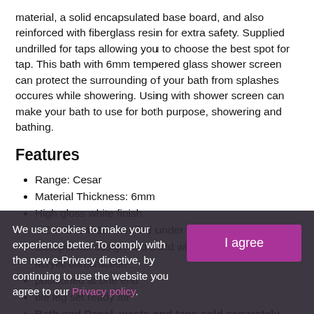material, a solid encapsulated base board, and also reinforced with fiberglass resin for extra safety. Supplied undrilled for taps allowing you to choose the best spot for tap. This bath with 6mm tempered glass shower screen can protect the surrounding of your bath from splashes occures while showering. Using with shower screen can make your bath to use for both purpose, showering and bathing.
Features
Range: Cesar
Material Thickness: 6mm
High gloss white finish
CE & EN14516 Certified under European Standard
Exceptional design and build with sanitary grade acrylic construction
[partially hidden] positioned at one end
[partially hidden] ble leg set ready for [partially hidden]
Bath end Panel, waste and taps sold separately
We use cookies to make your experience better. To comply with the new e-Privacy directive, by continuing to use the website you agree to our Privacy policy.